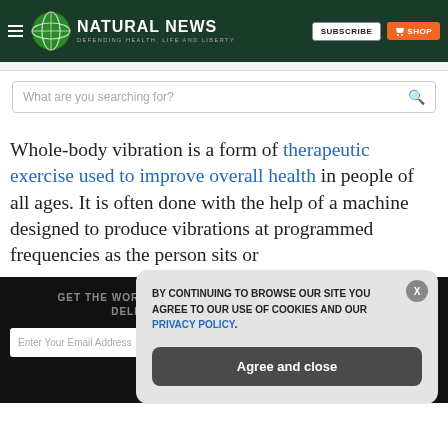NATURAL NEWS — DEFENDING HEALTH, LIFE AND LIBERTY
What are you searching for?
Whole-body vibration is a form of therapeutic exercise used to improve overall health in people of all ages. It is often done with the help of a machine designed to produce vibrations at programmed frequencies as the person sits or
GET THE WORLD'S BEST NATURAL HEALTH NEWSLETTER DELIVERED STRAIGHT TO YOUR INBOX
BY CONTINUING TO BROWSE OUR SITE YOU AGREE TO OUR USE OF COOKIES AND OUR PRIVACY POLICY.
Agree and close